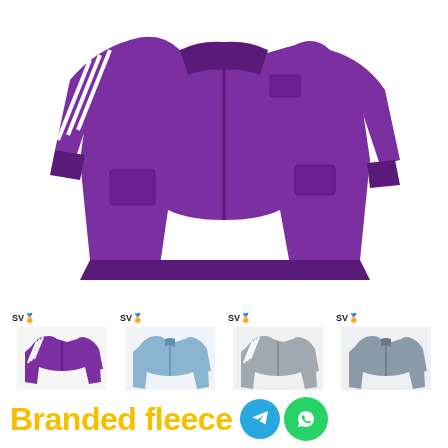[Figure (photo): Main product image: purple Adidas zip-up track jacket/fleece on white background]
[Figure (photo): Four thumbnail images of jackets: purple Adidas (with SV watermark), blue zip-up (SV watermark), grey stripe track jacket (SV watermark), grey track jacket (SV watermark)]
HOME / MAN / SWEATSHIRTS & JUMPERS
Branded fleece